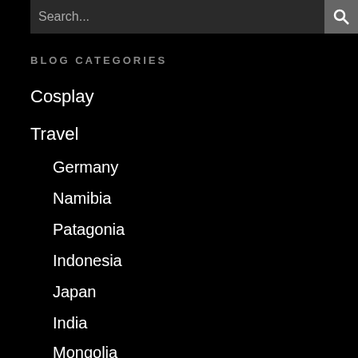Search...
BLOG CATEGORIES
Cosplay
Travel
Germany
Namibia
Patagonia
Indonesia
Japan
India
Mongolia
New Zealand